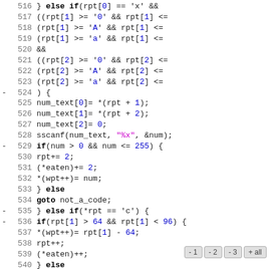[Figure (screenshot): Source code listing in C, lines 516-545, showing string parsing logic with hex and character escape code handling, with a navigation bar overlay at the bottom right showing buttons -1, -2, -3, +all]